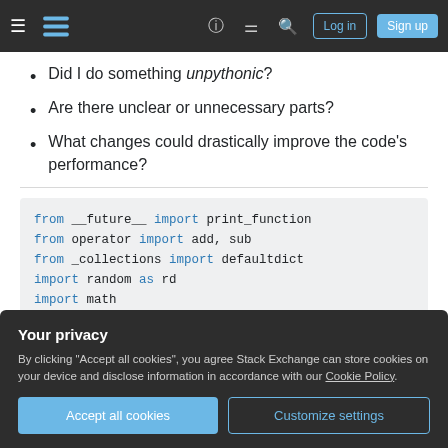Stack Exchange navigation header with Log in and Sign up buttons
Did I do something unpythonic?
Are there unclear or unnecessary parts?
What changes could drastically improve the code's performance?
from __future__ import print_function
from operator import add, sub
from _collections import defaultdict
import random as rd
import math
Your privacy
By clicking "Accept all cookies", you agree Stack Exchange can store cookies on your device and disclose information in accordance with our Cookie Policy.
Accept all cookies   Customize settings
def __str__(self):